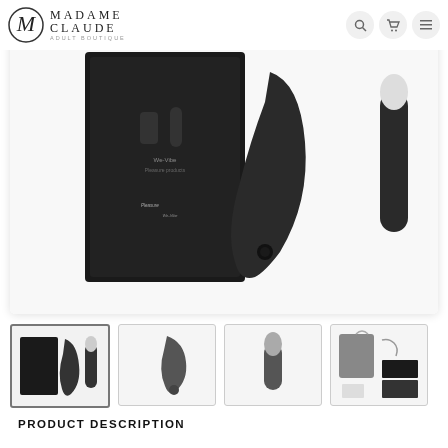Madame Claude Adult Boutique
[Figure (photo): Main product photo showing We-Vibe adult toy products including a curved stimulator device and a bullet vibrator alongside product packaging box against white background]
[Figure (photo): Thumbnail 1 (selected): Product bundle showing packaging box, curved stimulator, and bullet vibrator]
[Figure (photo): Thumbnail 2: Close-up of curved stimulator device in dark gray]
[Figure (photo): Thumbnail 3: Bullet vibrator in dark gray standing upright]
[Figure (photo): Thumbnail 4: Product accessories and packaging contents laid out]
PRODUCT DESCRIPTION